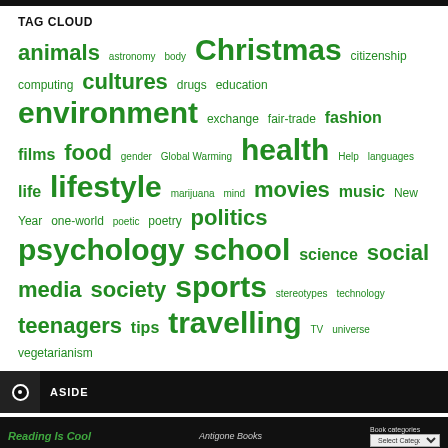TAG CLOUD
[Figure (infographic): Tag cloud with words of varying sizes in green, representing blog/website tags: animals, astronomy, body, Christmas, citizenship, computing, cultures, drugs, education, environment, exchange, fair-trade, fashion, films, food, gender, Global Warming, health, Help, languages, life, lifestyle, marijuana, mind, movies, music, New Year, one-world, poetic, poetry, politics, psychology, school, science, social media, society, sports, stereotypes, technology, teenagers, tips, travelling, TV, universe, vegetarianism]
ASIDE
[Figure (screenshot): Footer bar showing 'Reading Is Cool' in green italic text, a decorative book logo, and a 'Book categories' dropdown select box]